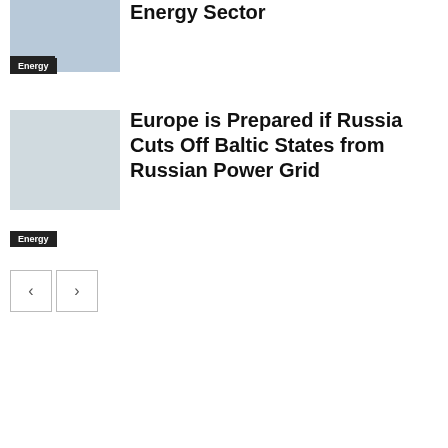[Figure (photo): Thumbnail image related to Energy Sector article, with Energy tag overlay]
Energy Sector
Energy
[Figure (photo): Thumbnail image for article about Europe and Baltic States power grid]
Europe is Prepared if Russia Cuts Off Baltic States from Russian Power Grid
Energy